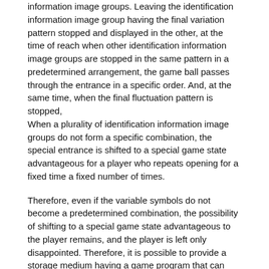information image groups. Leaving the identification information image group having the final variation pattern stopped and displayed in the other, at the time of reach when other identification information image groups are stopped in the same pattern in a predetermined arrangement, the game ball passes through the entrance in a specific order. And, at the same time, when the final fluctuation pattern is stopped, When a plurality of identification information image groups do not form a specific combination, the special entrance is shifted to a special game state advantageous for a player who repeats opening for a fixed time a fixed number of times.
Therefore, even if the variable symbols do not become a predetermined combination, the possibility of shifting to a special game state advantageous to the player remains, and the player is left only disappointed. Therefore, it is possible to provide a storage medium having a game program that can widen the range of games and increase the expectation for winning.
(12) In the present invention according to claim 12, a server for displaying a game machine image showing a